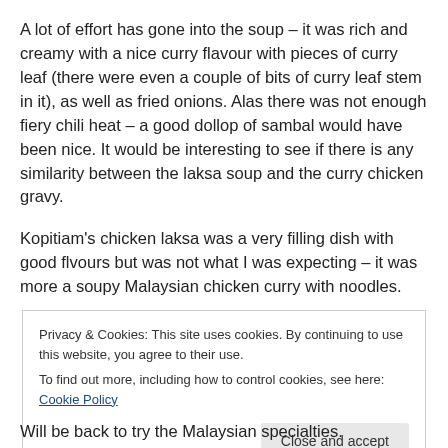A lot of effort has gone into the soup – it was rich and creamy with a nice curry flavour with pieces of curry leaf (there were even a couple of bits of curry leaf stem in it), as well as fried onions. Alas there was not enough fiery chili heat – a good dollop of sambal would have been nice. It would be interesting to see if there is any similarity between the laksa soup and the curry chicken gravy.
Kopitiam's chicken laksa was a very filling dish with good flvours but was not what I was expecting – it was more a soupy Malaysian chicken curry with noodles.
Privacy & Cookies: This site uses cookies. By continuing to use this website, you agree to their use.
To find out more, including how to control cookies, see here: Cookie Policy
Will be back to try the Malaysian specialties.